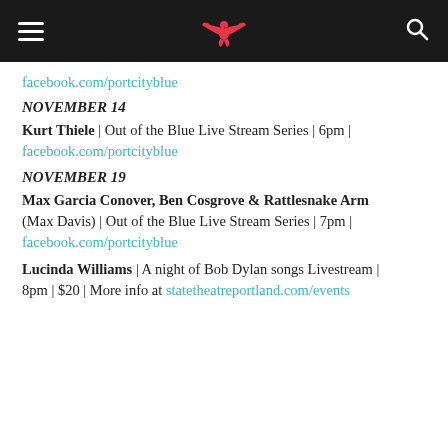[navigation bar with hamburger menu, bird logo, search icon]
facebook.com/portcityblue
NOVEMBER 14
Kurt Thiele | Out of the Blue Live Stream Series | 6pm | facebook.com/portcityblue
NOVEMBER 19
Max Garcia Conover, Ben Cosgrove & Rattlesnake Arm (Max Davis) | Out of the Blue Live Stream Series | 7pm | facebook.com/portcityblue
Lucinda Williams | A night of Bob Dylan songs Livestream | 8pm | $20 | More info at statetheatreportland.com/events